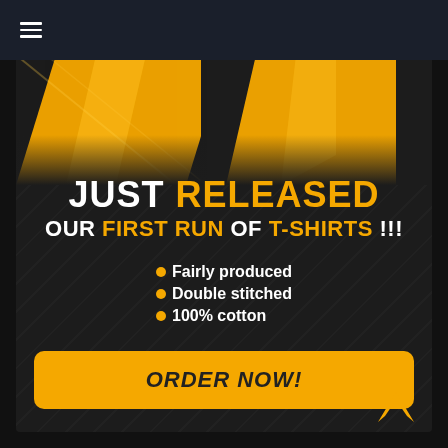≡
[Figure (illustration): T-shirt product image with yellow geometric diagonal shapes on dark background at top of card]
JUST RELEASED OUR FIRST RUN OF T-SHIRTS !!!
Fairly produced
Double stitched
100% cotton
ORDER NOW!